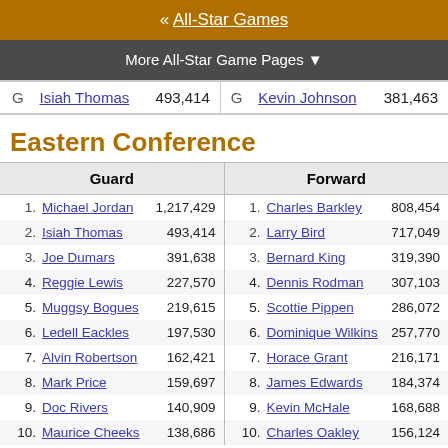« All-Star Games
More All-Star Game Pages ▼
| Pos | Player | Votes | Pos | Player | Votes |
| --- | --- | --- | --- | --- | --- |
| G | Isiah Thomas | 493,414 | G | Kevin Johnson | 381,463 |
Eastern Conference
| Guard |  |  | Forward |  |  |
| --- | --- | --- | --- | --- | --- |
| 1. | Michael Jordan | 1,217,429 | 1. | Charles Barkley | 808,454 |
| 2. | Isiah Thomas | 493,414 | 2. | Larry Bird | 717,049 |
| 3. | Joe Dumars | 391,638 | 3. | Bernard King | 319,390 |
| 4. | Reggie Lewis | 227,570 | 4. | Dennis Rodman | 307,103 |
| 5. | Muggsy Bogues | 219,615 | 5. | Scottie Pippen | 286,072 |
| 6. | Ledell Eackles | 197,530 | 6. | Dominique Wilkins | 257,770 |
| 7. | Alvin Robertson | 162,421 | 7. | Horace Grant | 216,171 |
| 8. | Mark Price | 159,697 | 8. | James Edwards | 184,374 |
| 9. | Doc Rivers | 140,909 | 9. | Kevin McHale | 168,688 |
| 10. | Maurice Cheeks | 138,686 | 10. | Charles Oakley | 156,124 |